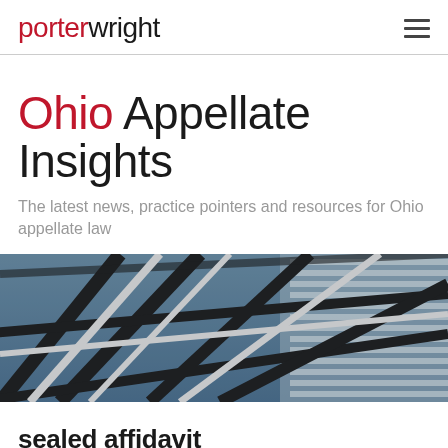porterwright
Ohio Appellate Insights
The latest news, practice pointers and resources for Ohio appellate law
[Figure (photo): Looking upward through a glass curtain-wall building structure; geometric steel frames and glass panels against a blue sky with a modern skyscraper visible through the glass.]
sealed affidavit